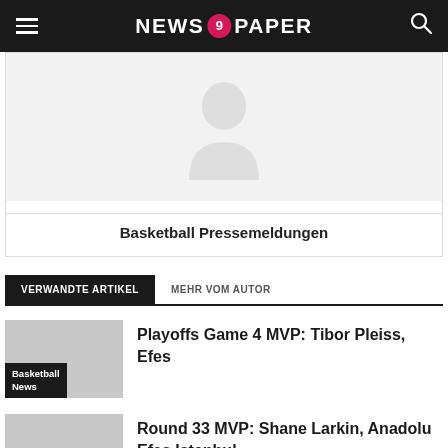NEWS 9 PAPER
[Figure (illustration): Author avatar placeholder inside a white card with light gray background]
Basketball Pressemeldungen
VERWANDTE ARTIKEL
MEHR VOM AUTOR
Playoffs Game 4 MVP: Tibor Pleiss, Efes
Round 33 MVP: Shane Larkin, Anadolu Efes Istanbul